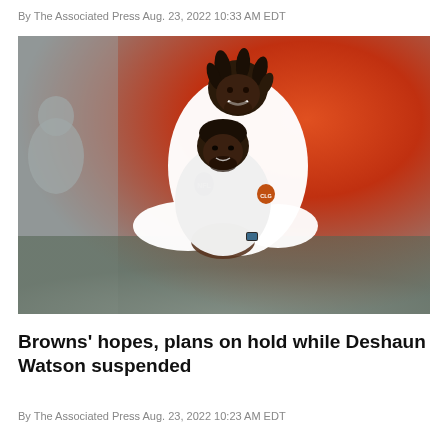By The Associated Press Aug. 23, 2022 10:33 AM EDT
[Figure (photo): Two Cleveland Browns players in white long-sleeve shirts on a football field. A taller player with dreadlocks is playfully grabbing the shorter player from behind, hugging him around the torso. Both are smiling. Background shows orange/red stadium colors and other people.]
Browns' hopes, plans on hold while Deshaun Watson suspended
By The Associated Press Aug. 23, 2022 10:23 AM EDT